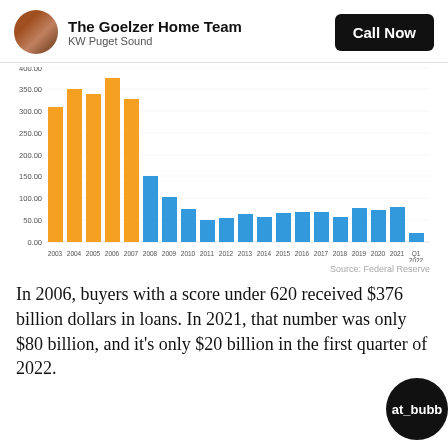The Goelzer Home Team | KW Puget Sound | Call Now
[Figure (bar-chart): ]
Source: Federal Reserve
In 2006, buyers with a score under 620 received $376 billion dollars in loans. In 2021, that number was only $80 billion, and it's only $20 billion in the first quarter of 2022.